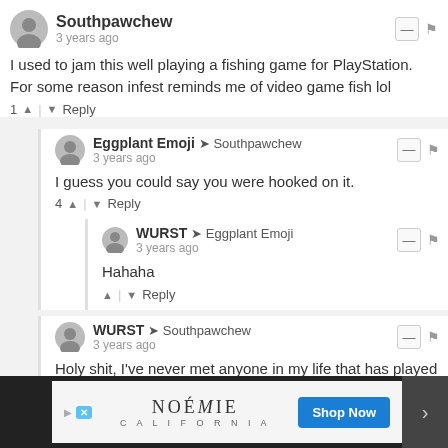Southpawchew · 3 years ago
I used to jam this well playing a fishing game for PlayStation. For some reason infest reminds me of video game fish lol
1 ↑ | ↓ Reply
Eggplant Emoji → Southpawchew · 3 years ago
I guess you could say you were hooked on it.
4 ↑ | ↓ Reply
WURST → Eggplant Emoji · 3 years ago
Hahaha
↑ | ↓ Reply
WURST → Southpawchew · 3 years ago
Holy shit, I've never met anyone in my life that has played a fishing game for PlayStation. I wonder if the developer would...any
[Figure (screenshot): Advertisement banner for NOÉMIE California with Shop Now button]